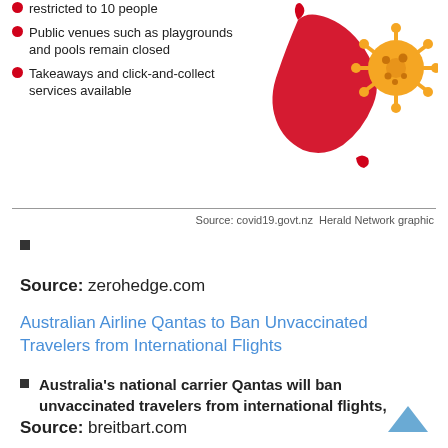[Figure (infographic): NZ COVID-19 infographic showing a red map of New Zealand and a yellow coronavirus illustration, with bullet points about restrictions: gatherings restricted to 10 people, public venues such as playgrounds and pools remain closed, takeaways and click-and-collect services available]
Source: covid19.govt.nz  Herald Network graphic
Source: zerohedge.com
Australian Airline Qantas to Ban Unvaccinated Travelers from International Flights
Australia's national carrier Qantas will ban unvaccinated travelers from international flights,
Source: breitbart.com